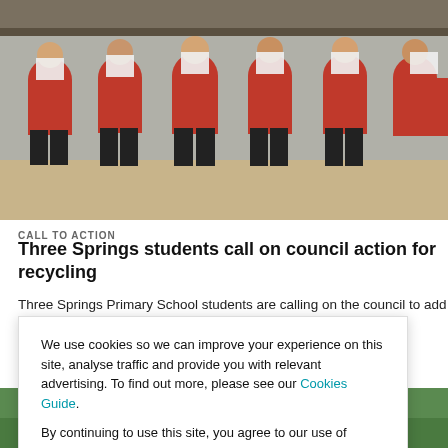[Figure (photo): Group of students in red shirts sitting and holding up papers]
CALL TO ACTION
Three Springs students call on council action for recycling
Three Springs Primary School students are calling on the council to add
We use cookies so we can improve your experience on this site, analyse traffic and provide you with relevant advertising. To find out more, please see our Cookies Guide.

By continuing to use this site, you agree to our use of cookies.
[Figure (photo): Partial photo of students playing sport outdoors]